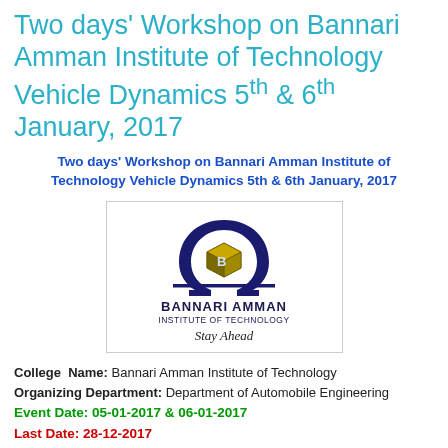Two days' Workshop on Bannari Amman Institute of Technology Vehicle Dynamics 5th & 6th January, 2017
Two days' Workshop on Bannari Amman Institute of Technology Vehicle Dynamics 5th & 6th January, 2017
[Figure (logo): Bannari Amman Institute of Technology logo with omega symbol and cube emblem, tagline: Stay Ahead]
College Name: Bannari Amman Institute of Technology
Organizing Department: Department of Automobile Engineering
Event Date: 05-01-2017 & 06-01-2017
Last Date: 28-12-2017
Address: Sathyamangalam
College Website Link: www.bitsathy.ac.in